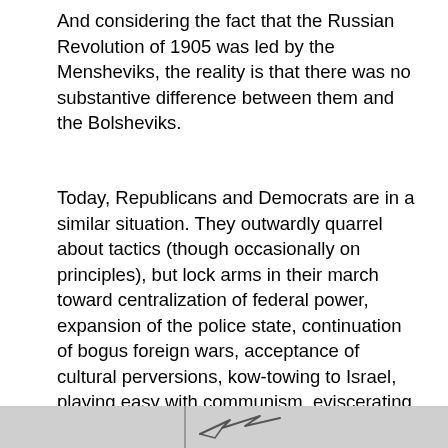And considering the fact that the Russian Revolution of 1905 was led by the Mensheviks, the reality is that there was no substantive difference between them and the Bolsheviks.
Today, Republicans and Democrats are in a similar situation. They outwardly quarrel about tactics (though occasionally on principles), but lock arms in their march toward centralization of federal power, expansion of the police state, continuation of bogus foreign wars, acceptance of cultural perversions, kow-towing to Israel, playing easy with communism, eviscerating our privacy, silencing our Freedom of speech and association, restricting the 2nd Amendment, and destroying the protections of our God-given rights codified in the Constitution.
[Figure (photo): Partial image strip at the bottom of the page showing a figure or scene, cropped]